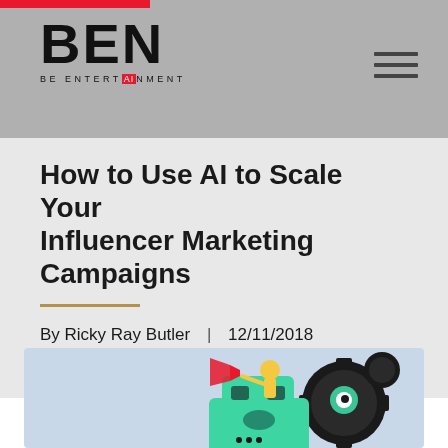BEN — BE ENTERTAINMENT
How to Use AI to Scale Your Influencer Marketing Campaigns
By Ricky Ray Butler  |  12/11/2018
[Figure (illustration): Cartoon robot illustration with a figure holding a megaphone, gears, on a light blue background]